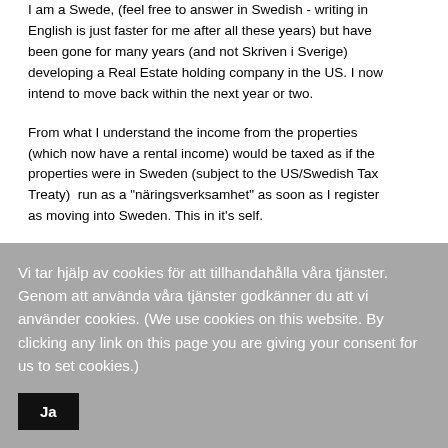I am a Swede, (feel free to answer in Swedish - writing in English is just faster for me after all these years) but have been gone for many years (and not Skriven i Sverige) developing a Real Estate holding company in the US. I now intend to move back within the next year or two.
From what I understand the income from the properties (which now have a rental income) would be taxed as if the properties were in Sweden (subject to the US/Swedish Tax Treaty)  run as a "näringsverksamhet" as soon as I register as moving into Sweden. This in it's self...
Vi tar hjälp av cookies för att tillhandahålla våra tjänster. Genom att använda våra tjänster godkänner du att vi använder cookies. (We use cookies on this website. By clicking any link on this page you are giving your consent for us to set cookies.)
Ja